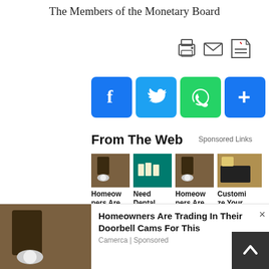The Members of the Monetary Board
[Figure (screenshot): Print, email, and PDF download icons]
[Figure (screenshot): Social sharing buttons: Facebook, Twitter, WhatsApp, More]
From The Web
Sponsored Links
[Figure (screenshot): Ad card image: Homeowners Are Trading... (Camerca)]
Homeowners Are Tradin...
Camerca
[Figure (screenshot): Ad card image: Need Dental Impla... (Dental implants | Sponsored)]
Need Dental Impla...
Dental implants |
[Figure (screenshot): Ad card image: Homeowners Are Tradin... (Keilini)]
Homeowners Are Tradin...
Keilini
[Figure (screenshot): Ad card image: Customize Your Apple... (Epic Industries)]
Customi ze Your Apple...
Epic Industries
[Figure (screenshot): Bottom sticky ad: Homeowners Are Trading In Their Doorbell Cams For This - Camerca | Sponsored]